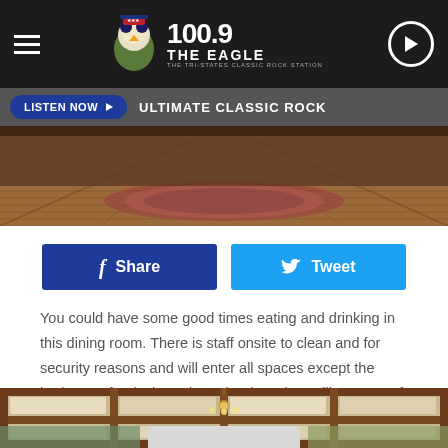100.9 THE EAGLE — The Tri-States Classic Rock Station
LISTEN NOW ▶  ULTIMATE CLASSIC ROCK
[Figure (photo): Dining room interior with hardwood floor and patterned rug]
f Share   Tweet
You could have some good times eating and drinking in this dining room. There is staff onsite to clean and for security reasons and will enter all spaces except the bedrooms freely throughout the day. They will stay out of the way.
[Figure (photo): Interior room with coffered wooden ceiling and chandelier, with smaller inset photos on sides]